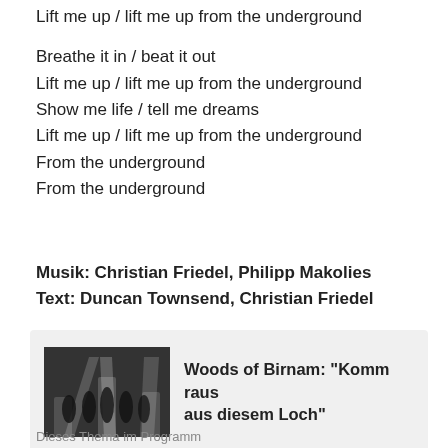Lift me up / lift me up from the underground
Breathe it in / beat it out
Lift me up / lift me up from the underground
Show me life / tell me dreams
Lift me up / lift me up from the underground
From the underground
From the underground
Musik: Christian Friedel, Philipp Makolies
Text: Duncan Townsend, Christian Friedel
[Figure (photo): Band photo of Woods of Birnam with bright stage lighting]
Woods of Birnam: "Komm raus aus diesem Loch"
Dieses Thema im Programm